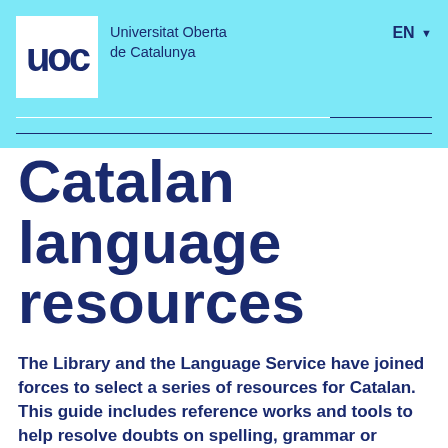Universitat Oberta de Catalunya | EN
Catalan language resources
The Library and the Language Service have joined forces to select a series of resources for Catalan. This guide includes reference works and tools to help resolve doubts on spelling, grammar or vocabulary. You can also find resources to help with pronunciation or to keep up-to-date with the news and new developments in the use of Catalan.
[Figure (photo): Person using a laptop on a desk, with a calculator visible, tinted cyan/blue]